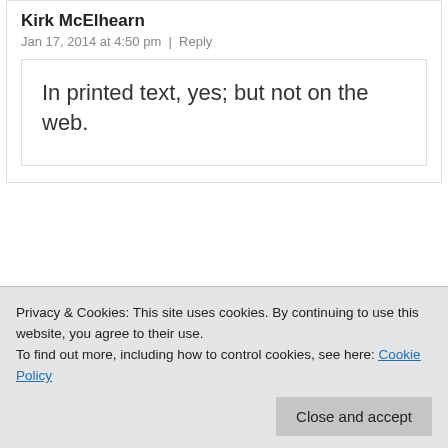Kirk McElhearn
Jan 17, 2014 at 4:50 pm  |  Reply
In printed text, yes; but not on the web.
Privacy & Cookies: This site uses cookies. By continuing to use this website, you agree to their use.
To find out more, including how to control cookies, see here: Cookie Policy
Close and accept
I got one sentence for you:
(The Google Theives) did it with the